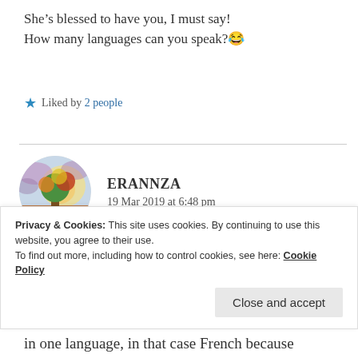She's blessed to have you, I must say! How many languages can you speak?😂
★ Liked by 2 people
ERANNZA
19 Mar 2019 at 6:48 pm
[Figure (illustration): Circular avatar image showing a colorful painted tree with autumn colors against a bright background]
Oh thank you, I appreciate very much what you say! I learnt French first, sprinkled with
Privacy & Cookies: This site uses cookies. By continuing to use this website, you agree to their use.
To find out more, including how to control cookies, see here: Cookie Policy
in one language, in that case French because